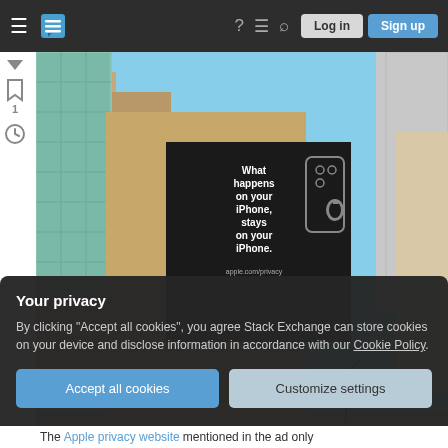Stack Exchange navigation bar with hamburger menu, logo, help, chat, search icons, Log in and Sign up buttons
[Figure (photo): Photo of Apple privacy billboard on the side of a building in a city skyline. The billboard reads 'What happens on your iPhone, stays on your iPhone. apple.com/privacy' with an image of an iPhone and Apple logo on a black background.]
Your privacy
By clicking "Accept all cookies", you agree Stack Exchange can store cookies on your device and disclose information in accordance with our Cookie Policy.
Accept all cookies   Customize settings
The Apple privacy website mentioned in the ad only